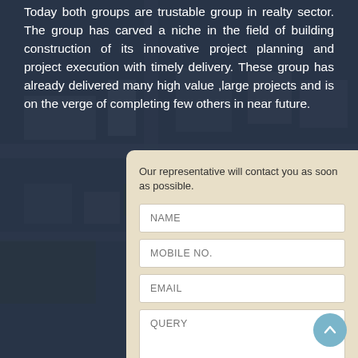Today both groups are trustable group in realty sector. The group has carved a niche in the field of building construction of its innovative project planning and project execution with timely delivery. These group has already delivered many high value ,large projects and is on the verge of completing few others in near future.
[Figure (photo): Aerial/overhead view of a construction or real estate development site with buildings and roads, overlaid with a dark semi-transparent gradient.]
Our representative will contact you as soon as possible.
NAME
MOBILE NO.
EMAIL
QUERY